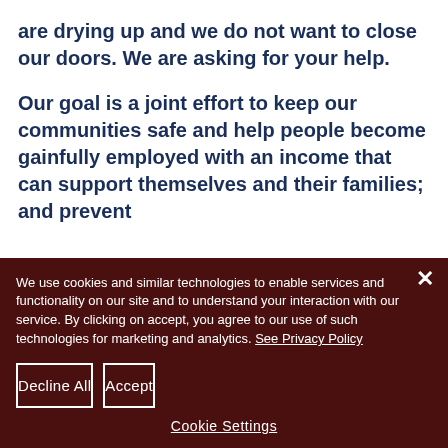are drying up and we do not want to close our doors. We are asking for your help.
Our goal is a joint effort to keep our communities safe and help people become gainfully employed with an income that can support themselves and their families; and prevent
We use cookies and similar technologies to enable services and functionality on our site and to understand your interaction with our service. By clicking on accept, you agree to our use of such technologies for marketing and analytics. See Privacy Policy
Decline All
Accept
Cookie Settings